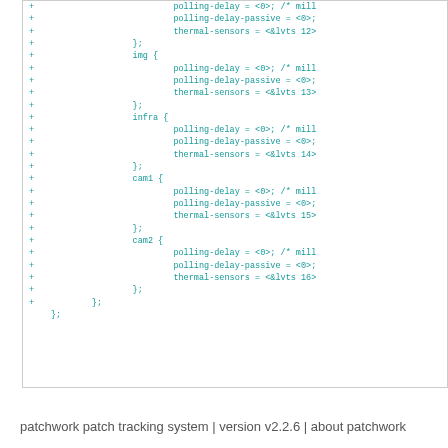[Figure (screenshot): Code diff snippet showing device tree source with thermal zone nodes (img, infra, cam1, cam2) each containing polling-delay, polling-delay-passive, and thermal-sensors properties, all prefixed with + indicating added lines.]
patchwork patch tracking system | version v2.2.6 | about patchwork